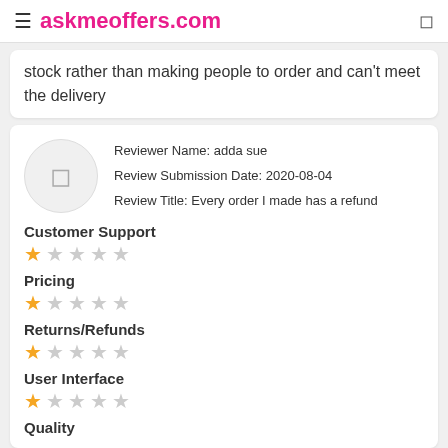askmeoffers.com
stock rather than making people to order and can't meet the delivery
Reviewer Name: adda sue
Review Submission Date: 2020-08-04
Review Title: Every order I made has a refund
Customer Support
★☆☆☆☆
Pricing
★☆☆☆☆
Returns/Refunds
★☆☆☆☆
User Interface
★☆☆☆☆
Quality